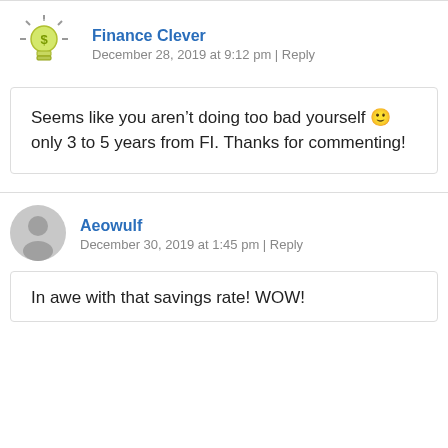Finance Clever
December 28, 2019 at 9:12 pm | Reply
Seems like you aren't doing too bad yourself 🙂 only 3 to 5 years from FI. Thanks for commenting!
Aeowulf
December 30, 2019 at 1:45 pm | Reply
In awe with that savings rate! WOW!